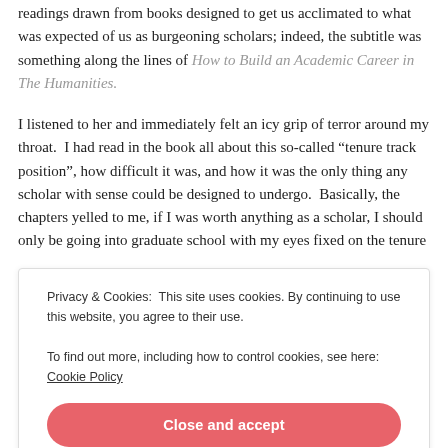readings drawn from books designed to get us acclimated to what was expected of us as burgeoning scholars; indeed, the subtitle was something along the lines of How to Build an Academic Career in The Humanities.
I listened to her and immediately felt an icy grip of terror around my throat. I had read in the book all about this so-called “tenure track position”, how difficult it was, and how it was the only thing any scholar with sense could be designed to undergo. Basically, the chapters yelled to me, if I was worth anything as a scholar, I should only be going into graduate school with my eyes fixed on the tenure
Privacy & Cookies: This site uses cookies. By continuing to use this website, you agree to their use.
To find out more, including how to control cookies, see here: Cookie Policy
Close and accept